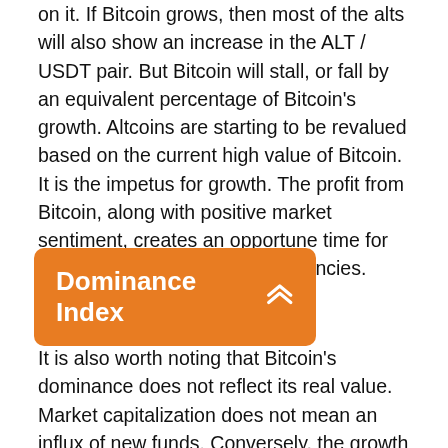on it. If Bitcoin grows, then most of the alts will also show an increase in the ALT / USDT pair. But Bitcoin will stall, or fall by an equivalent percentage of Bitcoin's growth. Altcoins are starting to be revalued based on the current high value of Bitcoin. It is the impetus for growth. The profit from Bitcoin, along with positive market sentiment, creates an opportune time for investments in other cryptocurrencies.
Dominance Index
It is also worth noting that Bitcoin's dominance does not reflect its real value. Market capitalization does not mean an influx of new funds. Conversely, the growth of Bitcoin's market capitalization does not mean